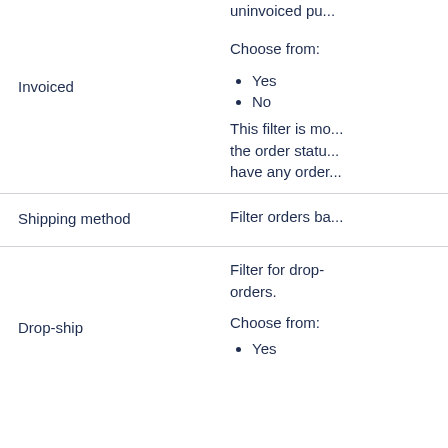uninvoiced pu...
Choose from:
Invoiced
Yes
No
This filter is mo... the order statu... have any order...
Shipping method
Filter orders ba...
Filter for drop- orders.
Drop-ship
Choose from:
Yes